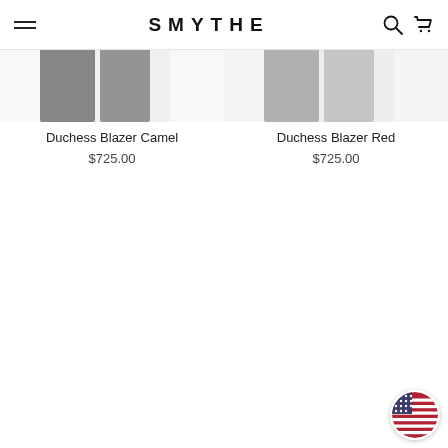SMYTHE
[Figure (photo): Product photo of Duchess Blazer Camel - partial view showing gray/camel fabric]
Duchess Blazer Camel
$725.00
[Figure (photo): Product photo of Duchess Blazer Red - partial view showing gray/red fabric]
Duchess Blazer Red
$725.00
[Figure (other): US flag circular badge in bottom right corner]